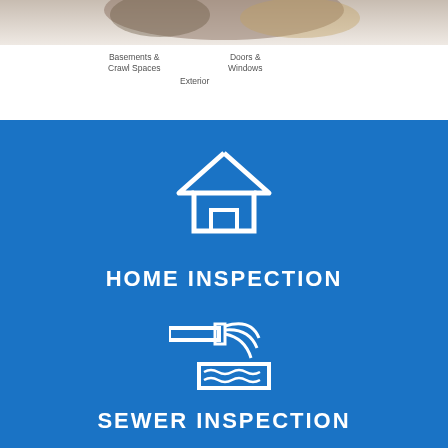[Figure (photo): Partial photo visible at top of page, showing a home inspection related image cut off near the top]
Basements &
Crawl Spaces
Doors &
Windows
Exterior
[Figure (illustration): White outline icon of a house on blue background]
HOME INSPECTION
[Figure (illustration): White outline icon of sewer/water pipe inspection on blue background]
SEWER INSPECTION